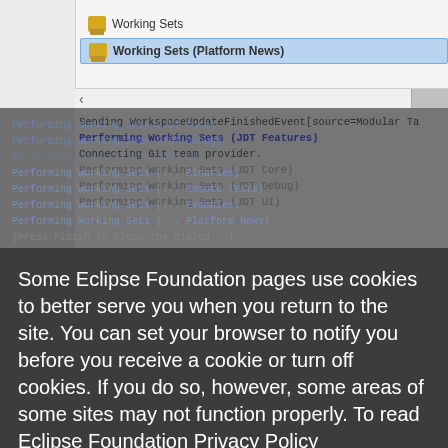[Figure (screenshot): Eclipse IDE window showing Working Sets panel with 'Working Sets (Platform News)' selected]
Sending WorkspaceUpdateFinishedEvent[source=Modular Ta
Performing Working Sets (JDT Features)
Connecting Git team provider.
Performing Working Sets (JDT Core)
Performing Working Sets (JDT Debug)
Performing Working Sets (JDT UI)
Performing Working Sets (... Binaries)
Performing Working Sets (... Remote Tests)
Performing Working Sets (... Examples)
Performing Working Sets (... Platform News)
[Press Finish to close the dialog...]
Some Eclipse Foundation pages use cookies to better serve you when you return to the site. You can set your browser to notify you before you receive a cookie or turn off cookies. If you do so, however, some areas of some sites may not function properly. To read Eclipse Foundation Privacy Policy
click here.
Decline
Allow cookies
First build